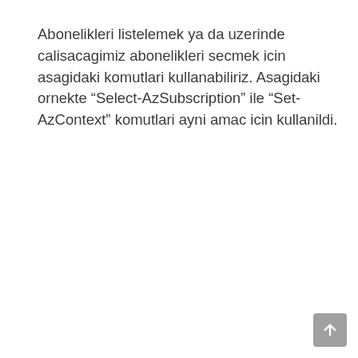Abonelikleri listelemek ya da uzerinde calisacagimiz abonelikleri secmek icin asagidaki komutlari kullanabiliriz. Asagidaki ornekte “Select-AzSubscription” ile “Set-AzContext” komutlari ayni amac icin kullanildi.